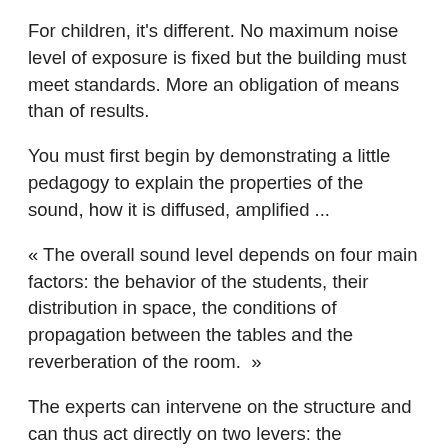For children, it's different. No maximum noise level of exposure is fixed but the building must meet standards. More an obligation of means than of results.
You must first begin by demonstrating a little pedagogy to explain the properties of the sound, how it is diffused, amplified ...
« The overall sound level depends on four main factors: the behavior of the students, their distribution in space, the conditions of propagation between the tables and the reverberation of the room.  »
The experts can intervene on the structure and can thus act directly on two levers: the projection between the tables and the reverberation of the room, by advising a better distribution of the children.